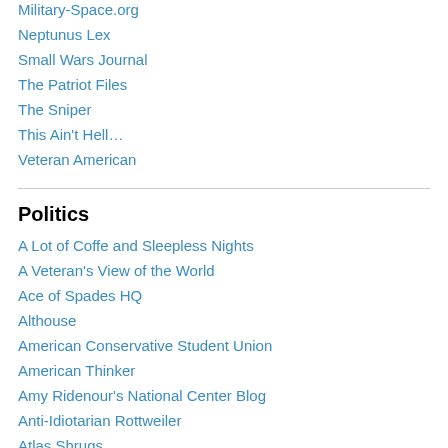Military-Space.org
Neptunus Lex
Small Wars Journal
The Patriot Files
The Sniper
This Ain't Hell…
Veteran American
Politics
A Lot of Coffe and Sleepless Nights
A Veteran's View of the World
Ace of Spades HQ
Althouse
American Conservative Student Union
American Thinker
Amy Ridenour's National Center Blog
Anti-Idiotarian Rottweiler
Atlas Shrugs